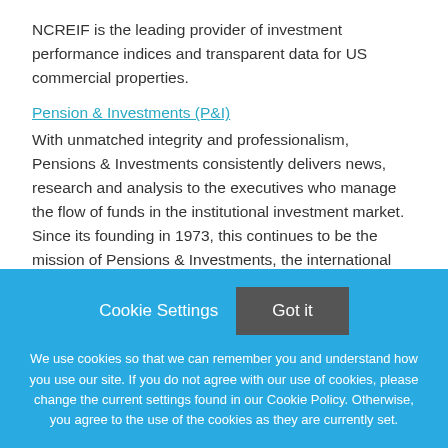NCREIF is the leading provider of investment performance indices and transparent data for US commercial properties.
Pension & Investments (P&I)
With unmatched integrity and professionalism, Pensions & Investments consistently delivers news, research and analysis to the executives who manage the flow of funds in the institutional investment market. Since its founding in 1973, this continues to be the mission of Pensions & Investments, the international newspaper of money management.
Cookie Settings
Got it
We use cookies so that we can remember you and understand how you use our site. If you do not agree with our use of cookies, please change the current settings found in our Cookie Policy. Otherwise, you agree to the use of the cookies as they are currently set.